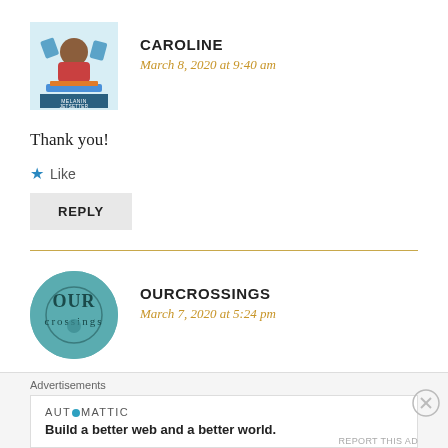[Figure (illustration): Avatar image for Melanin Jetsetter blog commenter, cartoon character with blue accent graphics and text 'MELANIN JETSETTER']
CAROLINE
March 8, 2020 at 9:40 am
Thank you!
★ Like
REPLY
[Figure (logo): OurCrossings circular teal avatar logo with 'OUR crossings' text]
OURCROSSINGS
March 7, 2020 at 5:24 pm
Advertisements
AUTOMATTIC
Build a better web and a better world.